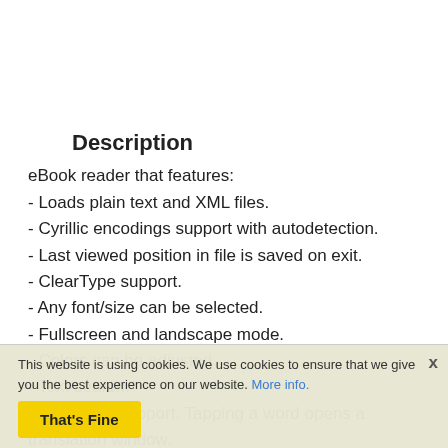Description
eBook reader that features:
- Loads plain text and XML files.
- Cyrillic encodings support with autodetection.
- Last viewed position in file is saved on exit.
- ClearType support.
- Any font/size can be selected.
- Fullscreen and landscape mode.
- Colors can be adjusted.
- Text search.
- Dictionary support. Tapping a word opens a translation window.
- Automatic hyphenation (russian language only).
- Table of contents support.
- Multiple columns support (1-4)
- PRC/PDB files support (plain text only), HTML
This website is using cookies. We use cookies to ensure that we give you the best experience on our website. More info. That's Fine